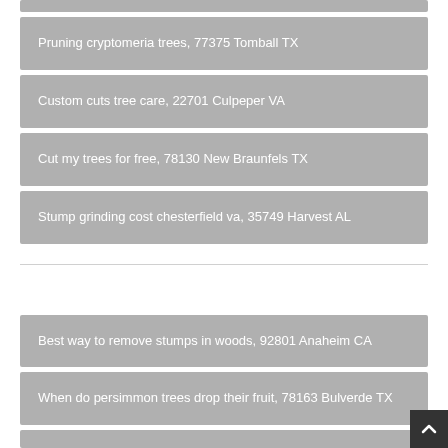Pruning cryptomeria trees, 77375 Tomball TX
Custom cuts tree care, 22701 Culpeper VA
Cut my trees for free, 78130 New Braunfels TX
Stump grinding cost chesterfield va, 35749 Harvest AL
Best way to remove stumps in woods, 92801 Anaheim CA
When do persimmon trees drop their fruit, 78163 Bulverde TX